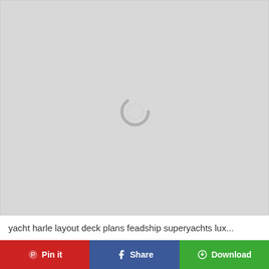[Figure (screenshot): Large light gray loading placeholder area with a circular spinner/loading indicator in the center-upper portion of the image area]
yacht harle layout deck plans feadship superyachts lux...
Pin it  Share  Download